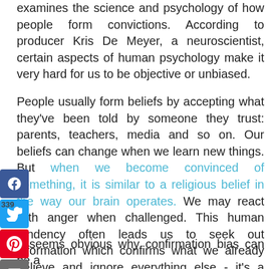examines the science and psychology of how people form convictions. According to producer Kris De Meyer, a neuroscientist, certain aspects of human psychology make it very hard for us to be objective or unbiased.
People usually form beliefs by accepting what they've been told by someone they trust: parents, teachers, media and so on. Our beliefs can change when we learn new things. But when we become convinced of something, it is similar to a religious belief in the way our brain operates. We may react with anger when challenged. This human tendency often leads us to seek out information which confirms what we already believe and ignore everything else - it's a cognitive bias actually - called confirmation bias.
It seems obvious why confirmation bias can be a